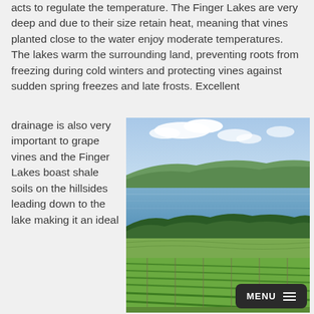acts to regulate the temperature. The Finger Lakes are very deep and due to their size retain heat, meaning that vines planted close to the water enjoy moderate temperatures. The lakes warm the surrounding land, preventing roots from freezing during cold winters and protecting vines against sudden spring freezes and late frosts. Excellent drainage is also very important to grape vines and the Finger Lakes boast shale soils on the hillsides leading down to the lake making it an ideal
[Figure (photo): Aerial/landscape view of Finger Lakes region showing vineyard rows in the foreground, a large lake in the middle, forested hillsides, and a partly cloudy sky.]